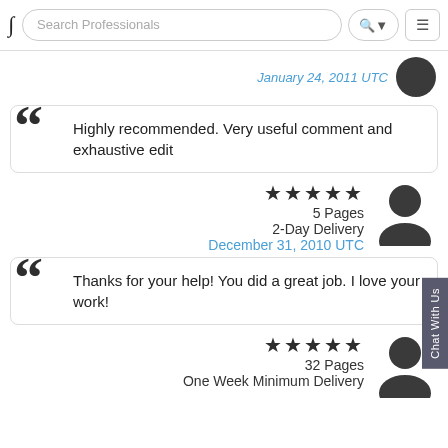Search Professionals
January 24, 2011 UTC
Highly recommended. Very useful comment and exhaustive edit
★★★★★ 5 Pages 2-Day Delivery December 31, 2010 UTC
Thanks for your help! You did a great job. I love your work!
★★★★★ 32 Pages One Week Minimum Delivery